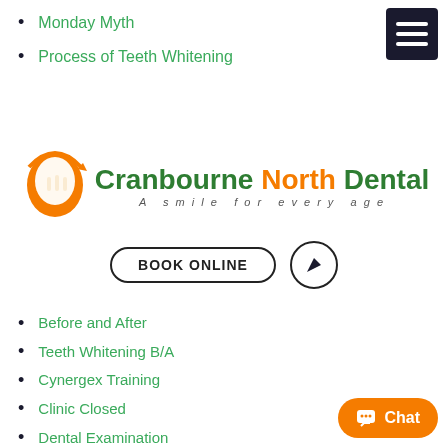Monday Myth
Process of Teeth Whitening
[Figure (logo): Cranbourne North Dental logo with orange tooth icon and green/orange text. Tagline: A smile for every age. Accompanied by BOOK ONLINE button and location arrow button.]
Before and After
Teeth Whitening B/A
Cynergex Training
Clinic Closed
Dental Examination
Staff Training
Staff Training – Closed
Monday Motivation
Closed – Staff Training